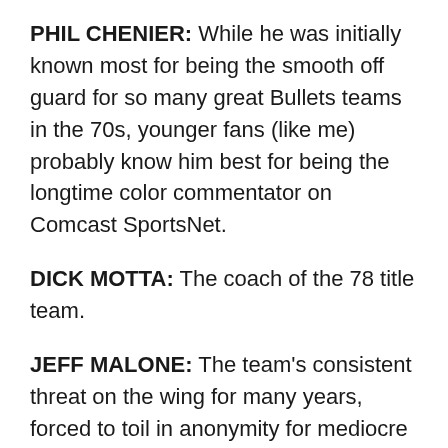PHIL CHENIER: While he was initially known most for being the smooth off guard for so many great Bullets teams in the 70s, younger fans (like me) probably know him best for being the longtime color commentator on Comcast SportsNet.
DICK MOTTA: The coach of the 78 title team.
JEFF MALONE: The team's consistent threat on the wing for many years, forced to toil in anonymity for mediocre teams.
CHRIS WEBBER: Along with Juwan Howard, he breathed new life into the franchise. But things didn't exactly end so well.
GILBERT ARENAS: Obviously, his time in D.C. ended very poorly, but for years, he helped make the